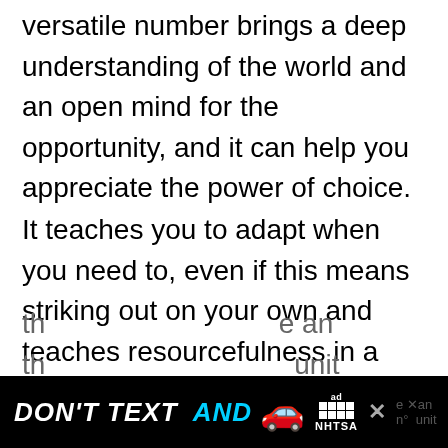versatile number brings a deep understanding of the world and an open mind for the opportunity, and it can help you appreciate the power of choice.
It teaches you to adapt when you need to, even if this means striking out on your own and teaches resourcefulness in a world filled with resources. And though this may seem like an intense change, you will be intensely rewarded for your efforts!
Number 5 is excellent at helping people keep
[Figure (other): Advertisement banner at bottom of page: black background with 'DON'T TEXT AND' in white and cyan bold italic text, red car emoji, ad logo with NHTSA branding and close button.]